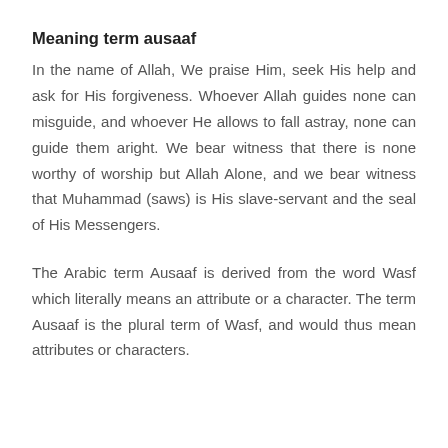Meaning term ausaaf
In the name of Allah, We praise Him, seek His help and ask for His forgiveness. Whoever Allah guides none can misguide, and whoever He allows to fall astray, none can guide them aright. We bear witness that there is none worthy of worship but Allah Alone, and we bear witness that Muhammad (saws) is His slave-servant and the seal of His Messengers.
The Arabic term Ausaaf is derived from the word Wasf which literally means an attribute or a character. The term Ausaaf is the plural term of Wasf, and would thus mean attributes or characters.